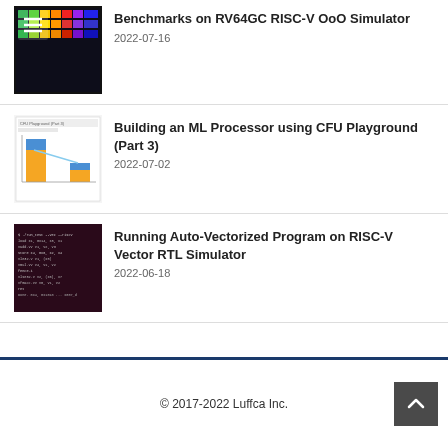[Figure (screenshot): Thumbnail showing colorful benchmark visualization on dark background with hamburger menu icon overlay]
Benchmarks on RV64GC RISC-V OoO Simulator
2022-07-16
[Figure (screenshot): Thumbnail showing CFU Playground Part 3 with stacked bar chart in blue and orange]
Building an ML Processor using CFU Playground (Part 3)
2022-07-02
[Figure (screenshot): Thumbnail showing terminal/console output with white text on dark purple/maroon background]
Running Auto-Vectorized Program on RISC-V Vector RTL Simulator
2022-06-18
© 2017-2022 Luffca Inc.